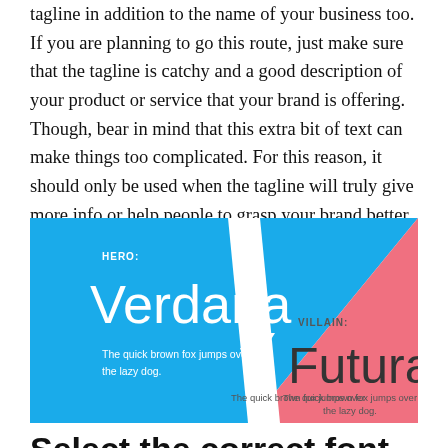tagline in addition to the name of your business too. If you are planning to go this route, just make sure that the tagline is catchy and a good description of your product or service that your brand is offering. Though, bear in mind that this extra bit of text can make things too complicated. For this reason, it should only be used when the tagline will truly give more info or help people to grasp your brand better.
[Figure (illustration): A split graphic showing HERO: Verdana (blue background) on the left and VILLAIN: Futura (pink/salmon background) on the right, separated by a diagonal white lightning bolt shape. Each side shows the font name in large text and 'The quick brown fox jumps over the lazy dog.' as a sample.]
Select the correct font